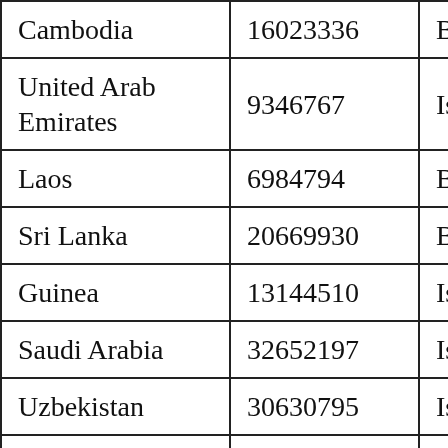| Country | Population | Religion |
| --- | --- | --- |
| Cambodia | 16023336 | Budd… |
| United Arab Emirates | 9346767 | Islam… |
| Laos | 6984794 | Budd… |
| Sri Lanka | 20669930 | Budd… |
| Guinea | 13144510 | Islam… |
| Saudi Arabia | 32652197 | Islam… |
| Uzbekistan | 30630795 | Islam… |